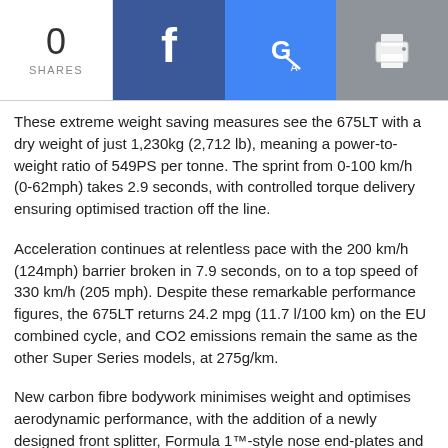0 SHARES
These extreme weight saving measures see the 675LT with a dry weight of just 1,230kg (2,712 lb), meaning a power-to-weight ratio of 549PS per tonne. The sprint from 0-100 km/h (0-62mph) takes 2.9 seconds, with controlled torque delivery ensuring optimised traction off the line.
Acceleration continues at relentless pace with the 200 km/h (124mph) barrier broken in 7.9 seconds, on to a top speed of 330 km/h (205 mph). Despite these remarkable performance figures, the 675LT returns 24.2 mpg (11.7 l/100 km) on the EU combined cycle, and CO2 emissions remain the same as the other Super Series models, at 275g/km.
New carbon fibre bodywork minimises weight and optimises aerodynamic performance, with the addition of a newly designed front splitter, Formula 1™-style nose end-plates and larger ‘Longtail’ Airbrake. The rear deck is also new. These bodywork changes contribute to a significant increase in downforce levels, up 40 percent over the already extremely aerodynamically-efficient 650S.